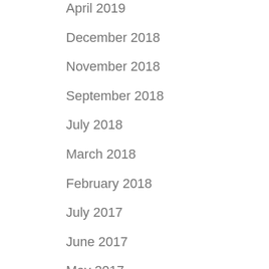April 2019
December 2018
November 2018
September 2018
July 2018
March 2018
February 2018
July 2017
June 2017
May 2017
December 2016